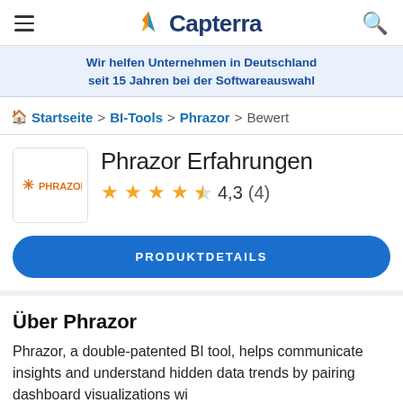Capterra
Wir helfen Unternehmen in Deutschland seit 15 Jahren bei der Softwareauswahl
Startseite > BI-Tools > Phrazor > Bewert
Phrazor Erfahrungen
4,3 (4)
PRODUKTDETAILS
Über Phrazor
Phrazor, a double-patented BI tool, helps communicate insights and understand hidden data trends by pairing dashboard visualizations wi